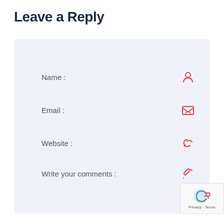Leave a Reply
[Figure (screenshot): A web comment form with fields for Name, Email, Website, and Write your comments, each accompanied by a red icon on the right. The form has a light blue-gray background. A reCAPTCHA Privacy-Terms badge appears in the bottom right corner.]